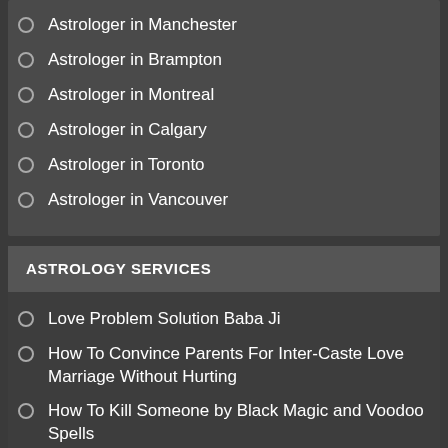Astrologer in Manchester
Astrologer in Brampton
Astrologer in Montreal
Astrologer in Calgary
Astrologer in Toronto
Astrologer in Vancouver
ASTROLOGY SERVICES
Love Problem Solution Baba Ji
How To Convince Parents For Inter-Caste Love Marriage Without Hurting
How To Kill Someone by Black Magic and Voodoo Spells
How Can I Kill or Destroy My Enemy, Revenge Black Magic Death Spells
How to Get Ex Boyfriend Girlfriend Back after